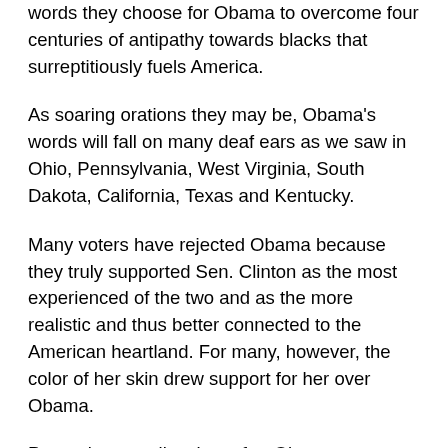words they choose for Obama to overcome four centuries of antipathy towards blacks that surreptitiously fuels America.
As soaring orations they may be, Obama's words will fall on many deaf ears as we saw in Ohio, Pennsylvania, West Virginia, South Dakota, California, Texas and Kentucky.
Many voters have rejected Obama because they truly supported Sen. Clinton as the most experienced of the two and as the more realistic and thus better connected to the American heartland. For many, however, the color of her skin drew support for her over Obama.
Post-primary polls taken after Obama announced that he had won indicate that 22 percent of Clinton supporters state they will vote for Republican John McCain with another seven percent saying they are undecided on whether to vote for